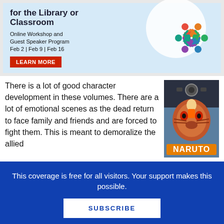[Figure (infographic): Library or Classroom online workshop advertisement banner with colorful circular people logo, text 'Online Workshop and Guest Speaker Program Feb 2 | Feb 9 | Feb 16' and a red LEARN MORE button]
There is a lot of good character development in these volumes. There are a lot of emotional scenes as the dead return to face family and friends and are forced to fight them. This is meant to demoralize the allied
[Figure (photo): Naruto manga book cover showing a fierce creature with orange Naruto text at the bottom]
This coverage is free for all visitors. Your support makes this possible.
SUBSCRIBE